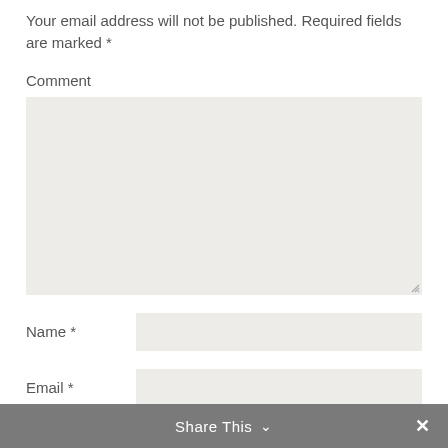Your email address will not be published. Required fields are marked *
Comment
[Figure (screenshot): Comment textarea input box with light beige/gray background and resize handle at bottom right]
Name *
[Figure (screenshot): Name text input field with light beige/gray background]
Email *
[Figure (screenshot): Email text input field with light beige/gray background]
Website
Share This ∨  ✕